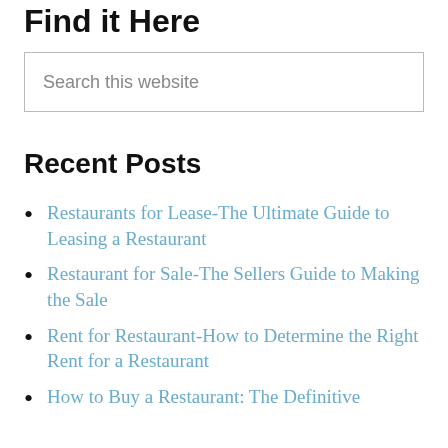Find it Here
Search this website
Recent Posts
Restaurants for Lease-The Ultimate Guide to Leasing a Restaurant
Restaurant for Sale-The Sellers Guide to Making the Sale
Rent for Restaurant-How to Determine the Right Rent for a Restaurant
How to Buy a Restaurant: The Definitive